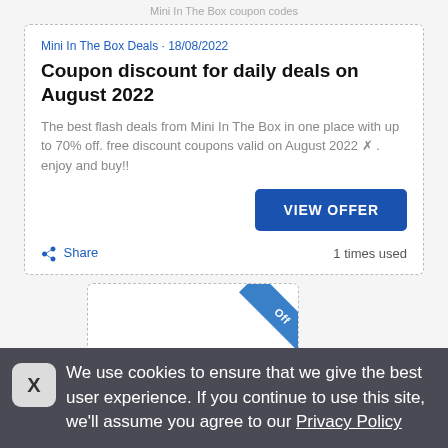Mini In The Box coupon codes
Mini In The Box Deals · 18/08/2022
Coupon discount for daily deals on August 2022
The best flash deals from Mini In The Box in one place with up to 70% off. free discount coupons valid on August 2022 ✗ . enjoy and buy!!
VIEW OFFER
Share   1 times used
[Figure (other): Partial view of a second coupon card with a blue diagonal ribbon/banner showing 'Off']
We use cookies to ensure that we give the best user experience. If you continue to use this site, we'll assume you agree to our Privacy Policy